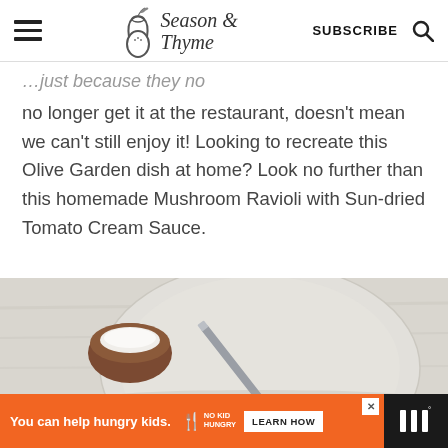Season & Thyme — SUBSCRIBE
no longer get it at the restaurant, doesn't mean we can't still enjoy it! Looking to recreate this Olive Garden dish at home? Look no further than this homemade Mushroom Ravioli with Sun-dried Tomato Cream Sauce.
[Figure (photo): Overhead view of a plate with a knife and a small brown ceramic bowl filled with white flour or salt, on a rustic white surface]
You can help hungry kids. NO KID HUNGRY LEARN HOW